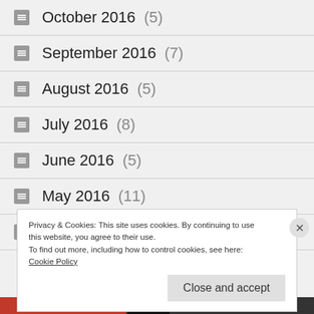October 2016 (5)
September 2016 (7)
August 2016 (5)
July 2016 (8)
June 2016 (5)
May 2016 (11)
April 2016 (4)
Privacy & Cookies: This site uses cookies. By continuing to use this website, you agree to their use.
To find out more, including how to control cookies, see here: Cookie Policy
Close and accept